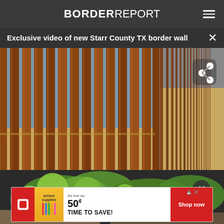BORDERREPORT
Exclusive video of new Starr County TX border wall
[Figure (photo): Close-up photo of vertical steel border wall bars (rusted/brown color) with desert landscape visible through the slats. A longer section of the wall extends into the background on the right.]
[Figure (photo): Partial view of another image below the border wall photo, appears to show green vegetation/produce.]
[Figure (other): Advertisement banner: 'As low as 50¢ TIME TO SAVE! Shop now' with red icon and pencils graphic.]